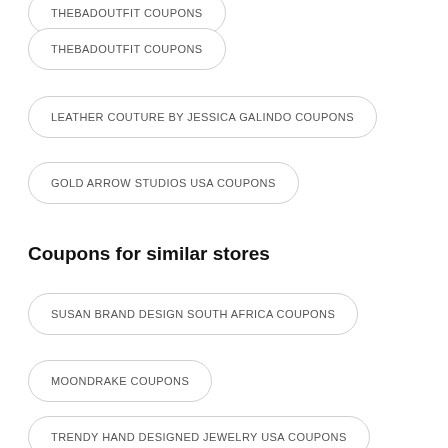THEBADOUTFIT COUPONS
LEATHER COUTURE BY JESSICA GALINDO COUPONS
GOLD ARROW STUDIOS USA COUPONS
Coupons for similar stores
SUSAN BRAND DESIGN SOUTH AFRICA COUPONS
MOONDRAKE COUPONS
TRENDY HAND DESIGNED JEWELRY USA COUPONS